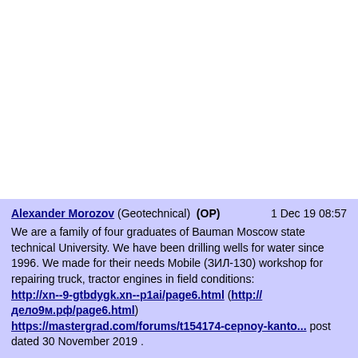Alexander Morozov (Geotechnical) (OP)   1 Dec 19 08:57
We are a family of four graduates of Bauman Moscow state technical University. We have been drilling wells for water since 1996. We made for their needs Mobile (ЗИЛ-130) workshop for repairing truck, tractor engines in field conditions:
http://xn--9-gtbdygk.xn--p1ai/page6.html (http://дело9м.рф/page6.html)
https://mastergrad.com/forums/t154174-cepnoy-kanto... post dated 30 November 2019 .